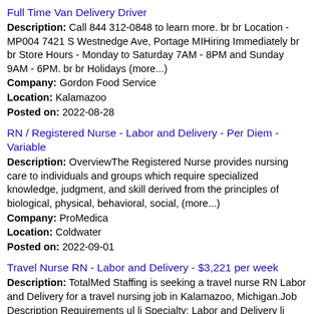Full Time Van Delivery Driver
Description: Call 844 312-0848 to learn more. br br Location - MP004 7421 S Westnedge Ave, Portage MIHiring Immediately br br Store Hours - Monday to Saturday 7AM - 8PM and Sunday 9AM - 6PM. br br Holidays (more...) Company: Gordon Food Service Location: Kalamazoo Posted on: 2022-08-28
RN / Registered Nurse - Labor and Delivery - Per Diem - Variable
Description: OverviewThe Registered Nurse provides nursing care to individuals and groups which require specialized knowledge, judgment, and skill derived from the principles of biological, physical, behavioral, social, (more...) Company: ProMedica Location: Coldwater Posted on: 2022-09-01
Travel Nurse RN - Labor and Delivery - $3,221 per week
Description: TotalMed Staffing is seeking a travel nurse RN Labor and Delivery for a travel nursing job in Kalamazoo, Michigan.Job Description Requirements ul li Specialty: Labor and Delivery li Discipline: (more...) Company: TotalMed Staffing Location: Kalamazoo Posted on: 2022-09-01